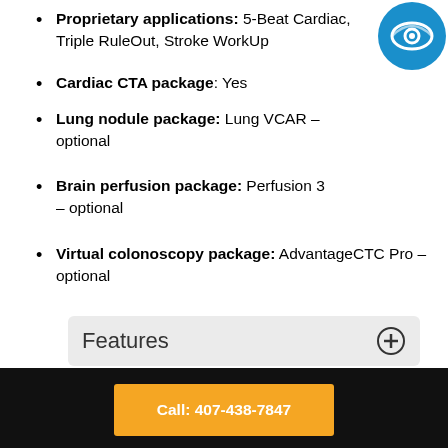Proprietary applications: 5-Beat Cardiac, Triple RuleOut, Stroke WorkUp
[Figure (logo): Blue circle logo with eye/lens graphic]
Cardiac CTA package: Yes
Lung nodule package: Lung VCAR – optional
Brain perfusion package: Perfusion 3 – optional
Virtual colonoscopy package: AdvantageCTC Pro – optional
Features
CT scanner mode: Multislice
Slices per rotation: 64
Other rotation speed options